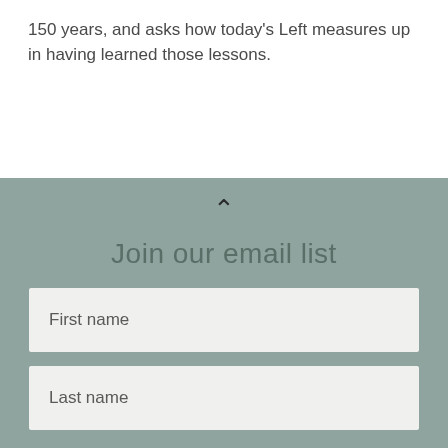150 years, and asks how today's Left measures up in having learned those lessons.
Join our email list
First name
Last name